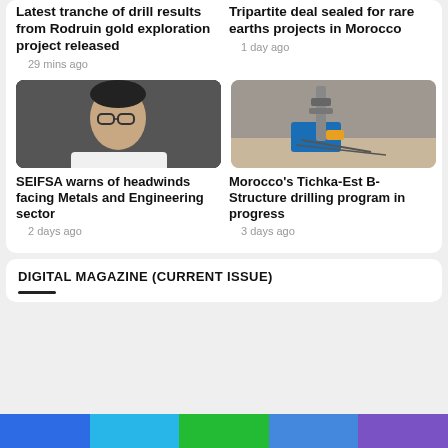Latest tranche of drill results from Rodruin gold exploration project released
29 mins ago
Tripartite deal sealed for rare earths projects in Morocco
1 day ago
[Figure (photo): Portrait of a man in a white shirt with glasses against a dark background]
[Figure (photo): Aerial view of a drilling rig and equipment at a mining site]
SEIFSA warns of headwinds facing Metals and Engineering sector
2 days ago
Morocco's Tichka-Est B-Structure drilling program in progress
3 days ago
DIGITAL MAGAZINE (CURRENT ISSUE)